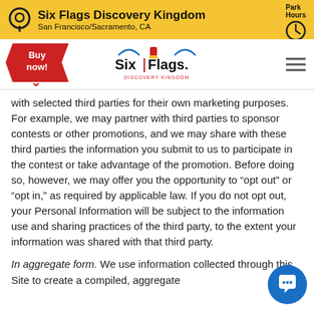Six Flags Discovery Kingdom — San Francisco/Sacramento, CA — Park Hours
[Figure (logo): Six Flags Discovery Kingdom logo with navigation bar including Buy now button and hamburger menu]
with selected third parties for their own marketing purposes. For example, we may partner with third parties to sponsor contests or other promotions, and we may share with these third parties the information you submit to us to participate in the contest or take advantage of the promotion. Before doing so, however, we may offer you the opportunity to “opt out” or “opt in,” as required by applicable law. If you do not opt out, your Personal Information will be subject to the information use and sharing practices of the third party, to the extent your information was shared with that third party.
In aggregate form. We use information collected through this Site to create a compiled, aggregate